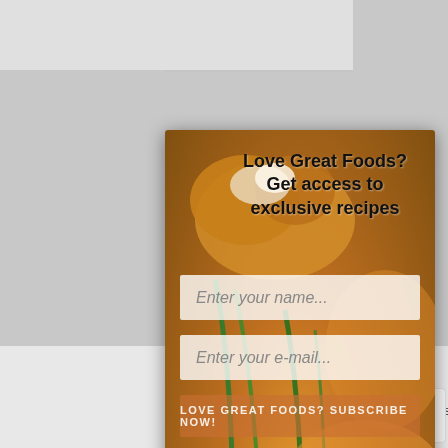[Figure (screenshot): Food popup subscription modal over a webpage background. Shows a food photo (cooked fish/salmon with green chives) behind a form with fields 'Enter your name...' and 'Enter your e-mail...' and a subscribe button. Text overlay reads 'Love Great Foods? Get access to exclusive recipes'.]
Love Great Foods?
Get access to exclusive recipes
Enter your name...
Enter your e-mail...
LOVE GREAT FOODS? SUBSCRIBE NOW!
Kids, here’s how to defrost food the right way | It’s all about the danger